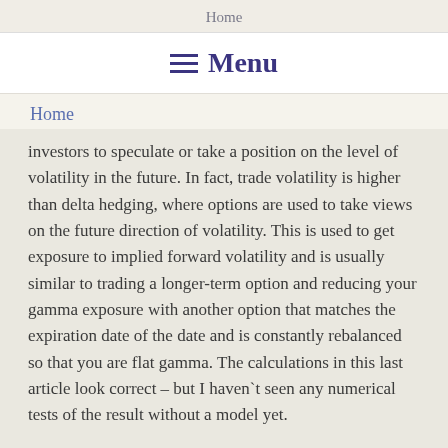Home
≡ Menu
Home
investors to speculate or take a position on the level of volatility in the future. In fact, trade volatility is higher than delta hedging, where options are used to take views on the future direction of volatility. This is used to get exposure to implied forward volatility and is usually similar to trading a longer-term option and reducing your gamma exposure with another option that matches the expiration date of the date and is constantly rebalanced so that you are flat gamma. The calculations in this last article look correct – but I haven`t seen any numerical tests of the result without a model yet.
Has anyone tested the latest Rolloos result, any comments/ideas about it?. . .